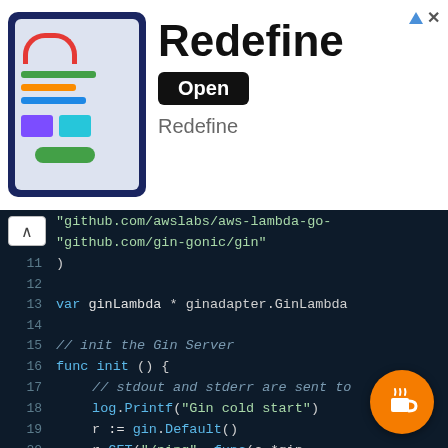[Figure (screenshot): Advertisement banner for 'Redefine' app showing a dashboard screenshot, 'Redefine' title in bold, an 'Open' button, and 'Redefine' subtitle text. Top-right has an ad badge with triangle and X icons.]
[Figure (screenshot): Code editor screenshot showing Go source code with dark background. Lines 9-22 visible. Imports include github.com/awslabs/aws-lambda-go and github.com/gin-gonic/gin. Code shows ginLambda variable declaration, init() function with log.Printf, gin.Default(), r.GET('/ping' handler with c.JSON(200, gin.H{ 'message': 'pong'. Orange coffee button overlay in bottom-right.]